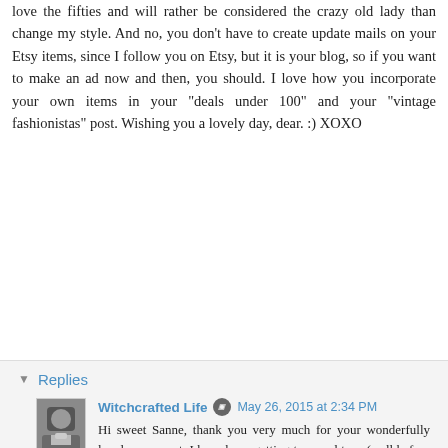love the fifties and will rather be considered the crazy old lady than change my style. And no, you don't have to create update mails on your Etsy items, since I follow you on Etsy, but it is your blog, so if you want to make an ad now and then, you should. I love how you incorporate your own items in your "deals under 100" and your "vintage fashionistas" post. Wishing you a lovely day, dear. :) XOXO
Reply
Replies
Witchcrafted Life  May 26, 2015 at 2:34 PM
Hi sweet Sanne, thank you very much for your wonderfully lovely comment. I have been getting tons and tons (well before this post, I mean) of requests for an entry on the topic of vintage for those who are 40 or older, including from a woman that I worked with as a sponsor here once (Canadian author Elinor Florence), and have started work on a very substantial (aka, thorough) post on that very topic, which will almost certainly go live in June. I'm really excited